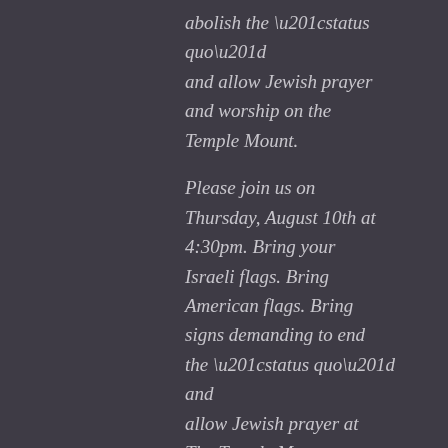abolish the “status quo” and allow Jewish prayer and worship on the Temple Mount.
Please join us on Thursday, August 10th at 4:30pm. Bring your Israeli flags. Bring American flags. Bring signs demanding to end the “status quo” and allow Jewish prayer at The Temple Mount now.
Now is the time! We have waited long enough!!
This protest is being held